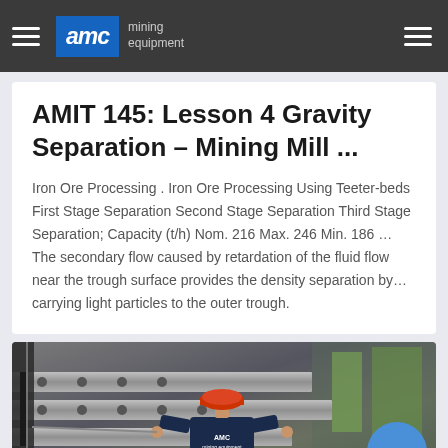AMC mining equipment
AMIT 145: Lesson 4 Gravity Separation – Mining Mill ...
Iron Ore Processing . Iron Ore Processing Using Teeter-beds First Stage Separation Second Stage Separation Third Stage Separation; Capacity (t/h) Nom. 216 Max. 246 Min. 186 … The secondary flow caused by retardation of the fluid flow near the trough surface provides the density separation by… carrying light particles to the outer trough.
[Figure (photo): Worker wearing AMC jacket and red hard hat working on large industrial mining equipment machinery in a factory or industrial setting]